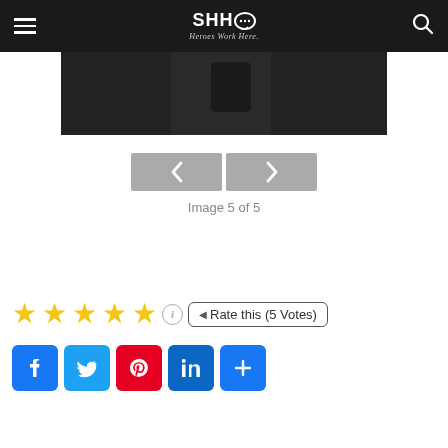SHHQ Heroes Work Here.
[Figure (photo): Dark/black image, partial view of a figure, appears to be image 5 of 5 in a slideshow]
Image 5 of 5
Rate this (5 Votes)
[Figure (infographic): Social share buttons: Facebook, Twitter, Pinterest, LinkedIn, More (+)]